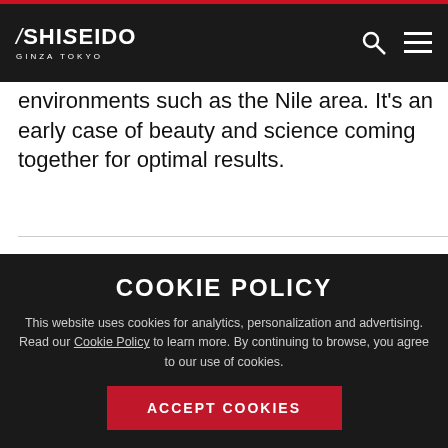SHISEIDO GINZA TOKYO — navigation bar
environments such as the Nile area. It's an early case of beauty and science coming together for optimal results.
Eyeliner Skills
Eyeliner is universally popular today because no matter what shape or color your eyes, it will
COOKIE POLICY
This website uses cookies for analytics, personalization and advertising. Read our Cookie Policy to learn more. By continuing to browse, you agree to our use of cookies.
ACCEPT COOKIES